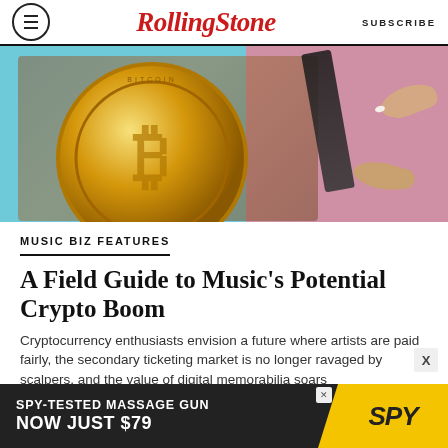Rolling Stone | SUBSCRIBE
[Figure (photo): Overhead photo of a large gold Bitcoin coin being placed on a turntable record player, with teal and pink background]
MUSIC BIZ FEATURES
A Field Guide to Music's Potential Crypto Boom
Cryptocurrency enthusiasts envision a future where artists are paid fairly, the secondary ticketing market is no longer ravaged by scalpers, and the value of digital memorabilia soars
[Figure (advertisement): SPY-TESTED MASSAGE GUN NOW JUST $79 — SPY brand advertisement banner]